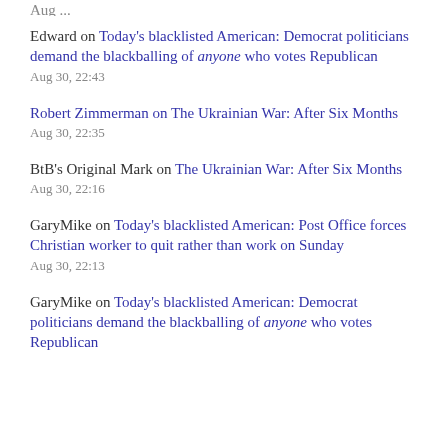Edward on Today's blacklisted American: Democrat politicians demand the blackballing of anyone who votes Republican
Aug 30, 22:43
Robert Zimmerman on The Ukrainian War: After Six Months
Aug 30, 22:35
BtB's Original Mark on The Ukrainian War: After Six Months
Aug 30, 22:16
GaryMike on Today's blacklisted American: Post Office forces Christian worker to quit rather than work on Sunday
Aug 30, 22:13
GaryMike on Today's blacklisted American: Democrat politicians demand the blackballing of anyone who votes Republican